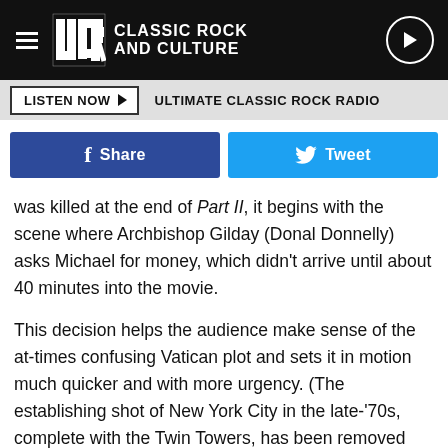UCR Classic Rock and Culture
LISTEN NOW — ULTIMATE CLASSIC ROCK RADIO
[Figure (screenshot): Facebook Share button and Twitter Tweet button side by side]
was killed at the end of Part II, it begins with the scene where Archbishop Gilday (Donal Donnelly) asks Michael for money, which didn't arrive until about 40 minutes into the movie.
This decision helps the audience make sense of the at-times confusing Vatican plot and sets it in motion much quicker and with more urgency. (The establishing shot of New York City in the late-'70s, complete with the Twin Towers, has been removed entirely.) We then hear Michael's voiceover as he writes a letter to his daughter Mary and his son Tony